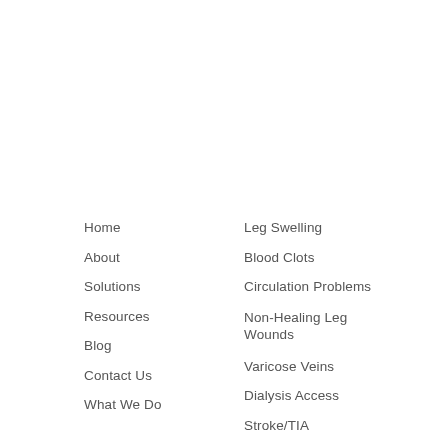Home
About
Solutions
Resources
Blog
Contact Us
What We Do
Leg Swelling
Blood Clots
Circulation Problems
Non-Healing Leg Wounds
Varicose Veins
Dialysis Access
Stroke/TIA